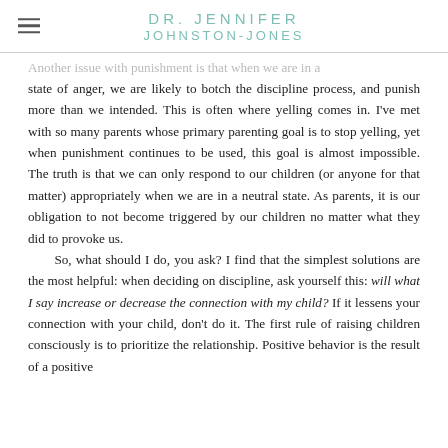DR. JENNIFER JOHNSTON-JONES
Another issue with punishment is that when we are in a state of anger, we are likely to botch the discipline process, and punish more than we intended. This is often where yelling comes in. I've met with so many parents whose primary parenting goal is to stop yelling, yet when punishment continues to be used, this goal is almost impossible. The truth is that we can only respond to our children (or anyone for that matter) appropriately when we are in a neutral state. As parents, it is our obligation to not become triggered by our children no matter what they did to provoke us.
So, what should I do, you ask? I find that the simplest solutions are the most helpful: when deciding on discipline, ask yourself this: will what I say increase or decrease the connection with my child? If it lessens your connection with your child, don't do it. The first rule of raising children consciously is to prioritize the relationship. Positive behavior is the result of a positive